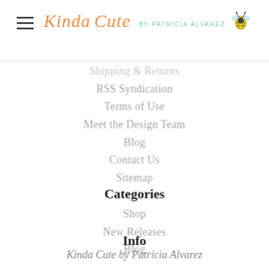Kinda Cute by Patricia Alvarez
Shipping & Returns
RSS Syndication
Terms of Use
Meet the Design Team
Blog
Contact Us
Sitemap
Categories
Shop
New Releases
Blog
Info
Kinda Cute by Patricia Alvarez